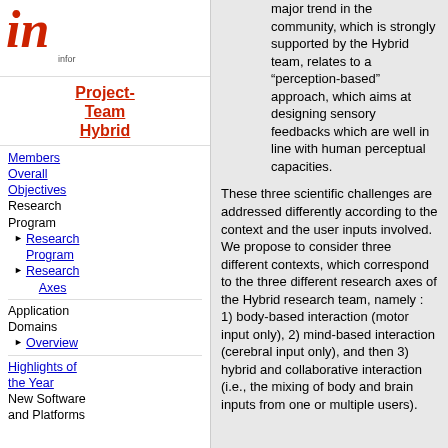[Figure (logo): Stylized italic red 'in' logo with 'infor' text beside it]
Project-Team Hybrid
Members
Overall Objectives
Research Program
Research Program (sub)
Research Axes
Application Domains
Overview
Highlights of the Year
New Software and Platforms
major trend in the community, which is strongly supported by the Hybrid team, relates to a “perception-based” approach, which aims at designing sensory feedbacks which are well in line with human perceptual capacities.
These three scientific challenges are addressed differently according to the context and the user inputs involved. We propose to consider three different contexts, which correspond to the three different research axes of the Hybrid research team, namely : 1) body-based interaction (motor input only), 2) mind-based interaction (cerebral input only), and then 3) hybrid and collaborative interaction (i.e., the mixing of body and brain inputs from one or multiple users).
Previous | Home | Next